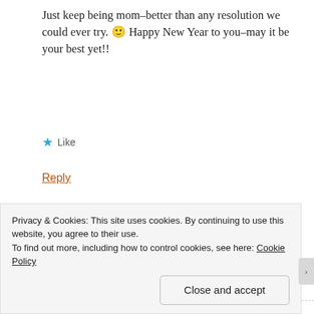Just keep being mom–better than any resolution we could ever try. 🙂 Happy New Year to you–may it be your best yet!!
★ Like
Reply
Advertisements
[Figure (screenshot): WordPress.com advertisement banner with gradient blue-to-pink background. Text reads 'Simplified pricing for everything you need.' with WordPress.com logo on the right.]
REPORT THIS AD
Privacy & Cookies: This site uses cookies. By continuing to use this website, you agree to their use.
To find out more, including how to control cookies, see here: Cookie Policy
Close and accept